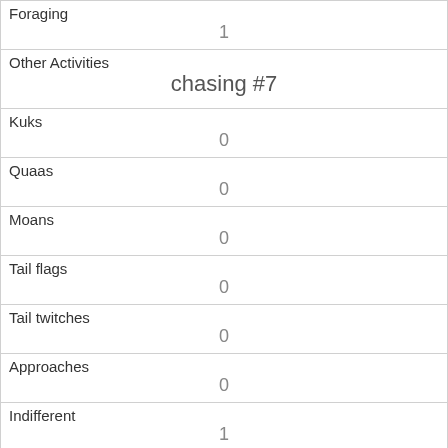| Foraging | 1 |
| Other Activities | chasing #7 |
| Kuks | 0 |
| Quaas | 0 |
| Moans | 0 |
| Tail flags | 0 |
| Tail twitches | 0 |
| Approaches | 0 |
| Indifferent | 1 |
| Runs from | 0 |